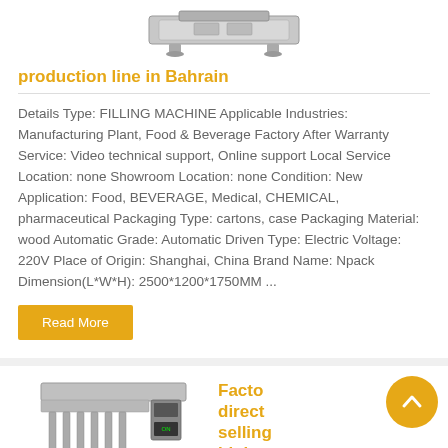[Figure (photo): Photo of a filling machine / production line equipment, stainless steel, top view]
production line in Bahrain
Details Type: FILLING MACHINE Applicable Industries: Manufacturing Plant, Food & Beverage Factory After Warranty Service: Video technical support, Online support Local Service Location: none Showroom Location: none Condition: New Application: Food, BEVERAGE, Medical, CHEMICAL, pharmaceutical Packaging Type: cartons, case Packaging Material: wood Automatic Grade: Automatic Driven Type: Electric Voltage: 220V Place of Origin: Shanghai, China Brand Name: Npack Dimension(L*W*H): 2500*1200*1750MM ...
Read More
[Figure (photo): Photo of a factory direct selling high precision filling machine, stainless steel with multiple nozzles]
Factory direct selling high precision